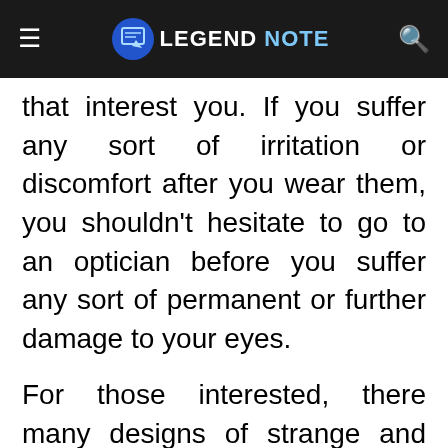LEGEND NOTE
that interest you. If you suffer any sort of irritation or discomfort after you wear them, you shouldn't hesitate to go to an optician before you suffer any sort of permanent or further damage to your eyes.
For those interested, there many designs of strange and crazy contact lenses to settle on from, including zebra style, flags, spirals, colors, and lots of other designs. they are available in two main types, monthly and standard. Monthly are very flexible, and you'll use them for a month